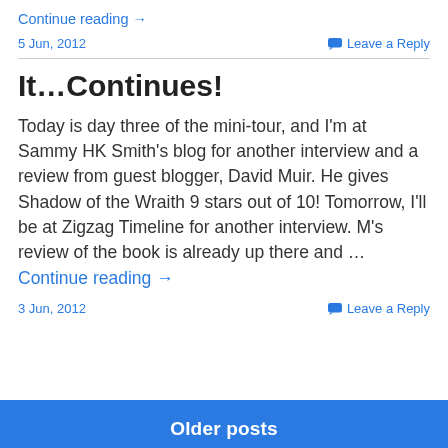Continue reading →
5 Jun, 2012    Leave a Reply
It…Continues!
Today is day three of the mini-tour, and I'm at Sammy HK Smith's blog for another interview and a review from guest blogger, David Muir. He gives Shadow of the Wraith 9 stars out of 10! Tomorrow, I'll be at Zigzag Timeline for another interview. M's review of the book is already up there and … Continue reading →
3 Jun, 2012    Leave a Reply
Older posts